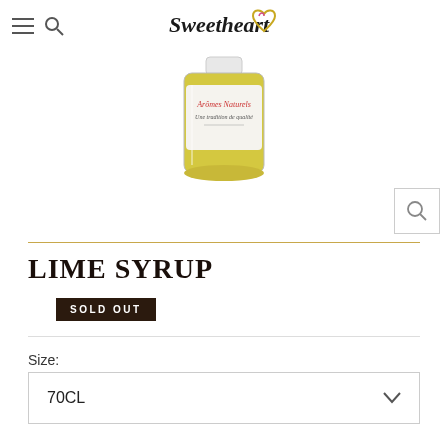Sweetheart (logo)
[Figure (photo): A glass jar/bottle of lime syrup with a yellow-green liquid, labeled 'Arômes Naturels – Une tradition de qualité']
LIME SYRUP
SOLD OUT
Size:
70CL